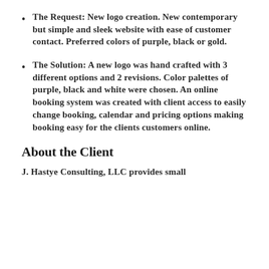The Request: New logo creation. New contemporary but simple and sleek website with ease of customer contact. Preferred colors of purple, black or gold.
The Solution: A new logo was hand crafted with 3 different options and 2 revisions. Color palettes of purple, black and white were chosen. An online booking system was created with client access to easily change booking, calendar and pricing options making booking easy for the clients customers online.
About the Client
J. Hastye Consulting, LLC provides small